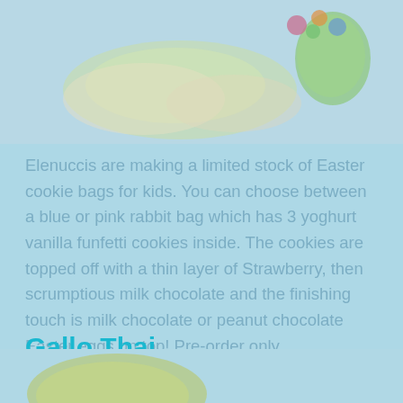[Figure (photo): Top portion of an image showing Easter cookies with colorful Easter eggs on a light blue background, partially cropped.]
Elenuccis are making a limited stock of Easter cookie bags for kids. You can choose between a blue or pink rabbit bag which has 3 yoghurt vanilla funfetti cookies inside. The cookies are topped off with a thin layer of Strawberry, then scrumptious milk chocolate and the finishing touch is milk chocolate or peanut chocolate Easter eggs on top! Pre-order only.
Gallo Thai
[Figure (photo): Bottom portion of an image showing Easter-themed food items, partially cropped at the bottom of the page.]